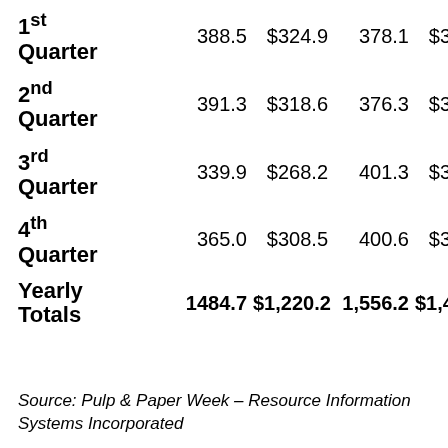|  | Volume | Value | Volume | Value |
| --- | --- | --- | --- | --- |
| 1st Quarter | 388.5 | $324.9 | 378.1 | $341.6 |
| 2nd Quarter | 391.3 | $318.6 | 376.3 | $331.2 |
| 3rd Quarter | 339.9 | $268.2 | 401.3 | $371.8 |
| 4th Quarter | 365.0 | $308.5 | 400.6 | $366.7 |
| Yearly Totals | 1484.7 | $1,220.2 | 1,556.2 | $1,411.3 |
Source: Pulp & Paper Week – Resource Information Systems Incorporated